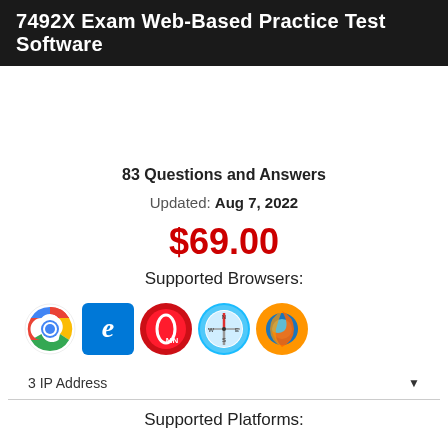7492X Exam Web-Based Practice Test Software
83 Questions and Answers
Updated: Aug 7, 2022
$69.00
Supported Browsers:
[Figure (infographic): Browser icons: Chrome, Edge, Opera, Safari, Firefox]
3 IP Address
Supported Platforms: